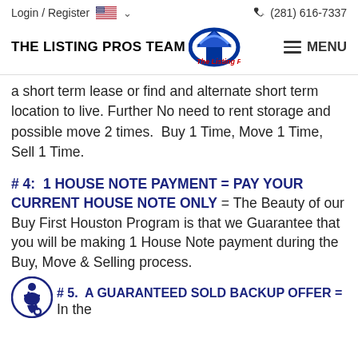Login / Register  🇺🇸 ∨    (281) 616-7337
[Figure (logo): The Listing Pros Team logo with house/arrow icon and red italic text 'The Listing Pros' with MENU button]
a short term lease or find and alternate short term location to live. Further No need to rent storage and possible move 2 times.  Buy 1 Time, Move 1 Time, Sell 1 Time.
# 4:  1 HOUSE NOTE PAYMENT = PAY YOUR CURRENT HOUSE NOTE ONLY = The Beauty of our Buy First Houston Program is that we Guarantee that you will be making 1 House Note payment during the Buy, Move & Selling process.
# 5.  A GUARANTEED SOLD BACKUP OFFER =  In the